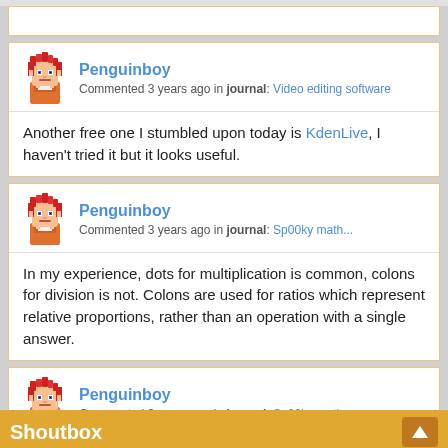[Figure (screenshot): Comment card 1: Penguinboy avatar with username Penguinboy, commented 3 years ago in journal: Video editing software. Comment text: Another free one I stumbled upon today is KdenLive, I haven't tried it but it looks useful.]
Another free one I stumbled upon today is KdenLive, I haven't tried it but it looks useful.
[Figure (screenshot): Comment card 2: Penguinboy avatar with username Penguinboy, commented 3 years ago in journal: Sp00ky math.... Comment text: In my experience, dots for multiplication is common, colons for division is not. Colons are used for ratios which represent relative proportions, rather than an operation with a single answer.]
In my experience, dots for multiplication is common, colons for division is not. Colons are used for ratios which represent relative proportions, rather than an operation with a single answer.
[Figure (screenshot): Comment card 3 (partial): Penguinboy avatar with username Penguinboy, commented 3 years ago in journal: Sp00ky math...]
Shoutbox